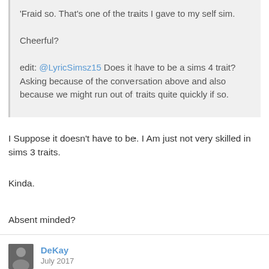'Fraid so. That's one of the traits I gave to my self sim.

Cheerful?

edit: @LyricSimsz15 Does it have to be a sims 4 trait? Asking because of the conversation above and also because we might run out of traits quite quickly if so.
I Suppose it doesn't have to be. I Am just not very skilled in sims 3 traits.
Kinda.
Absent minded?
DeKay
July 2017